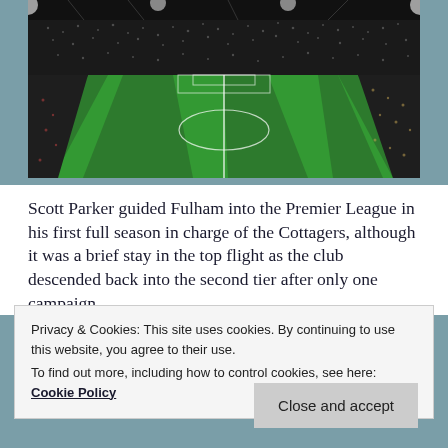[Figure (photo): Aerial/elevated view of a football stadium at night with bright green pitch, packed stands full of spectators under artificial lighting]
Scott Parker guided Fulham into the Premier League in his first full season in charge of the Cottagers, although it was a brief stay in the top flight as the club descended back into the second tier after only one campaign.
Privacy & Cookies: This site uses cookies. By continuing to use this website, you agree to their use.
To find out more, including how to control cookies, see here: Cookie Policy
Close and accept